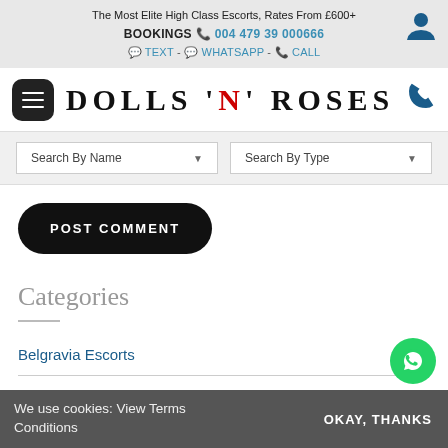The Most Elite High Class Escorts, Rates From £600+
BOOKINGS 📞 004479 39 000666
📩 TEXT - 💬 WHATSAPP - 📞 CALL
[Figure (logo): Dolls N Roses logo in tall serif font, with N in red]
Search By Name▼    Search By Type▼
POST COMMENT
Categories
Belgravia Escorts
We use cookies: View Terms Conditions    OKAY, THANKS